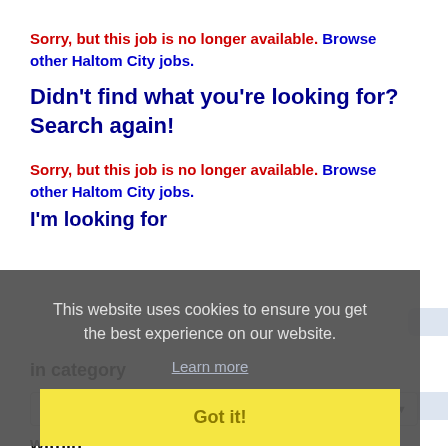Sorry, but this job is no longer available. Browse other Haltom City jobs.
Didn't find what you're looking for? Search again!
Sorry, but this job is no longer available. Browse other Haltom City jobs.
I'm looking for
This website uses cookies to ensure you get the best experience on our website.
Learn more
Got it!
in category
ALL
within
100 Miles of Haltom City